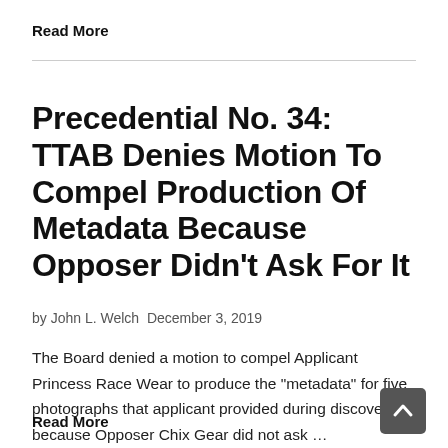Read More
Precedential No. 34: TTAB Denies Motion To Compel Production Of Metadata Because Opposer Didn’t Ask For It
by John L. Welch December 3, 2019
The Board denied a motion to compel Applicant Princess Race Wear to produce the "metadata" for five photographs that applicant provided during discovery, because Opposer Chix Gear did not ask …
Read More